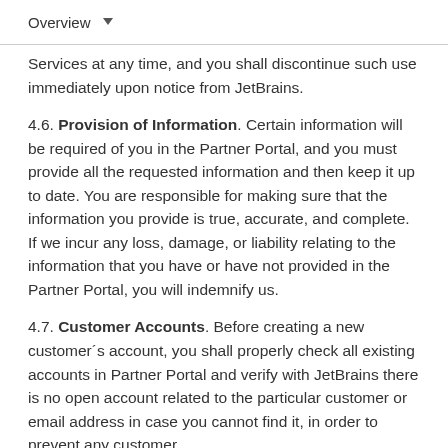Overview ▼
Services at any time, and you shall discontinue such use immediately upon notice from JetBrains.
4.6. Provision of Information. Certain information will be required of you in the Partner Portal, and you must provide all the requested information and then keep it up to date. You are responsible for making sure that the information you provide is true, accurate, and complete. If we incur any loss, damage, or liability relating to the information that you have or have not provided in the Partner Portal, you will indemnify us.
4.7. Customer Accounts. Before creating a new customer´s account, you shall properly check all existing accounts in Partner Portal and verify with JetBrains there is no open account related to the particular customer or email address in case you cannot find it, in order to prevent any customer